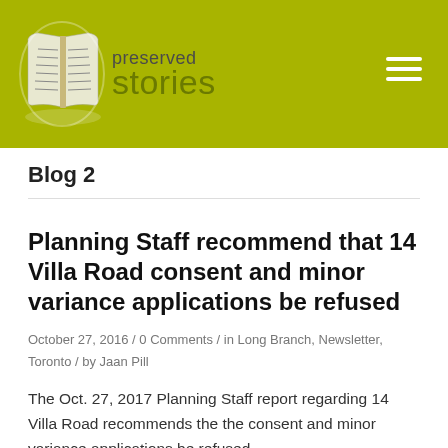[Figure (logo): Preserved Stories logo with open book illustration and text 'preserved stories' on olive/yellow-green background with hamburger menu icon]
Blog 2
Planning Staff recommend that 14 Villa Road consent and minor variance applications be refused
October 27, 2016 / 0 Comments / in Long Branch, Newsletter, Toronto / by Jaan Pill
The Oct. 27, 2017 Planning Staff report regarding 14 Villa Road recommends the the consent and minor variance applications be refused.
You can access the report at the City of Toronto website